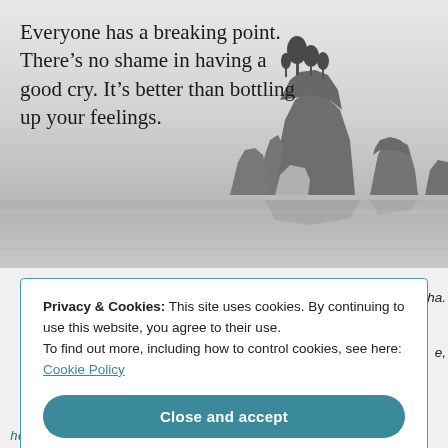[Figure (photo): Black and white photograph of dramatic rock formations rising from calm water, with trees on top of the largest rock. Quote text overlaid on the left side.]
Everyone has a breaking point. There's no shame in having a good cry. It's better than bottling up your feelings.
Privacy & Cookies: This site uses cookies. By continuing to use this website, you agree to their use.
To find out more, including how to control cookies, see here: Cookie Policy
Close and accept
he is only thinking of how many times he ha.